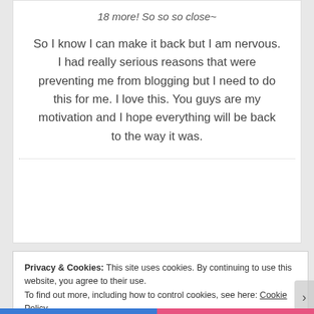18 more! So so so close~
So I know I can make it back but I am nervous. I had really serious reasons that were preventing me from blogging but I need to do this for me. I love this. You guys are my motivation and I hope everything will be back to the way it was.
Privacy & Cookies: This site uses cookies. By continuing to use this website, you agree to their use.
To find out more, including how to control cookies, see here: Cookie Policy
Close and accept